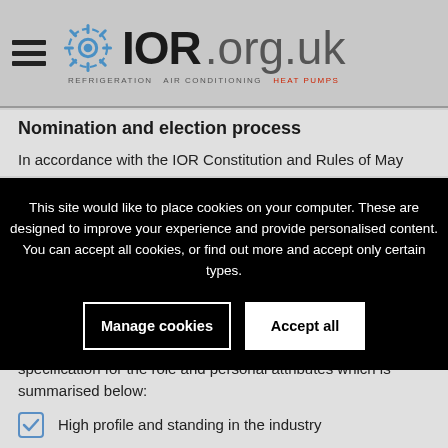IOR.org.uk — REFRIGERATION AIR CONDITIONING HEAT PUMPS
Nomination and election process
In accordance with the IOR Constitution and Rules of May
This site would like to place cookies on your computer. These are designed to improve your experience and provide personalised content. You can accept all cookies, or find out more and accept only certain types.
specification for the role and personal attributes which is summarised below:
High profile and standing in the industry
Extensive current involvement in Institute activities